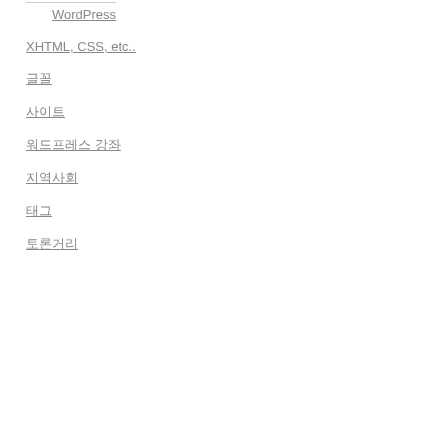WordPress
XHTML, CSS, etc..
글꼴
사이트
워드프레스 강좌
지역사회
태그
토론거리